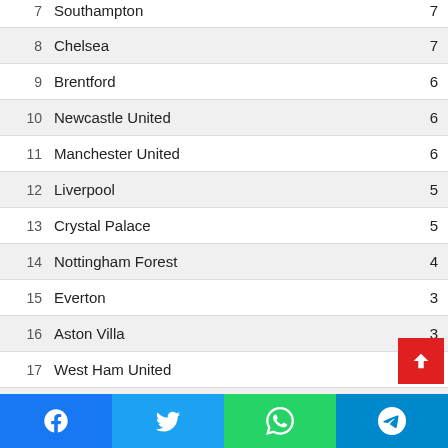| # | Club | Pts |
| --- | --- | --- |
| 7 | Southampton | 7 |
| 8 | Chelsea | 7 |
| 9 | Brentford | 6 |
| 10 | Newcastle United | 6 |
| 11 | Manchester United | 6 |
| 12 | Liverpool | 5 |
| 13 | Crystal Palace | 5 |
| 14 | Nottingham Forest | 4 |
| 15 | Everton | 3 |
| 16 | Aston Villa | 3 |
| 17 | West Ham United | 3 |
| 18 | AFC Bournemouth | 3 |
| 19 | Wolverhampton Wanderers | 2 |
| 20 | Leicester City | 1 |
Social share buttons: Facebook, Twitter, WhatsApp, Telegram